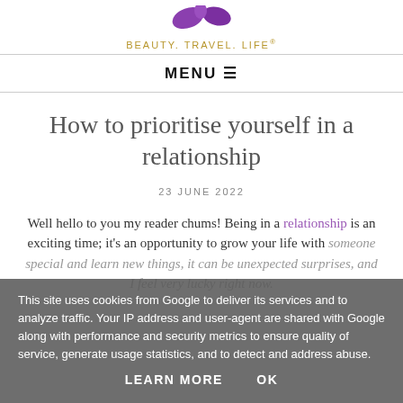[Figure (logo): Blog logo with purple leaf/butterfly shapes and golden text reading BEAUTY. TRAVEL. LIFE®]
MENU ☰
How to prioritise yourself in a relationship
23 JUNE 2022
Well hello to you my reader chums! Being in a relationship is an exciting time; it's an opportunity to grow your life with someone special and learn new things, it can be unexpectedly surprising, and I feel very lucky right now.
This site uses cookies from Google to deliver its services and to analyze traffic. Your IP address and user-agent are shared with Google along with performance and security metrics to ensure quality of service, generate usage statistics, and to detect and address abuse.
LEARN MORE   OK